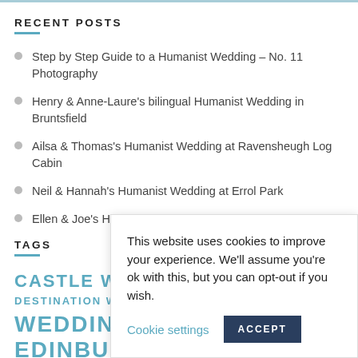RECENT POSTS
Step by Step Guide to a Humanist Wedding – No. 11 Photography
Henry & Anne-Laure's bilingual Humanist Wedding in Bruntsfield
Ailsa & Thomas's Humanist Wedding at Ravensheugh Log Cabin
Neil & Hannah's Humanist Wedding at Errol Park
Ellen & Joe's H
TAGS
CASTLE WEDD DESTINATION WEDDI WEDDING VENUES EDINBURGH
This website uses cookies to improve your experience. We'll assume you're ok with this, but you can opt-out if you wish. Cookie settings ACCEPT